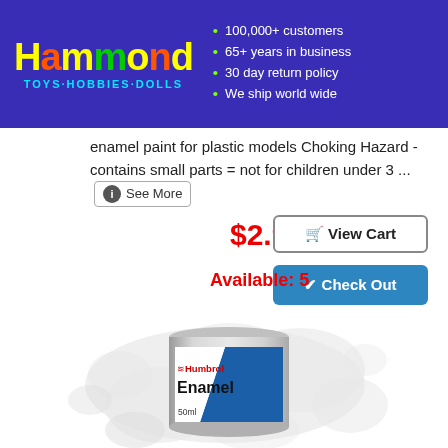Hammond TOYS·HOBBIES·DOLLS | 100,000+ customers | 65+ years in business | 30 day return policy | We ship world wide
enamel paint for plastic models Choking Hazard - contains small parts = not for children under 3 ... See More
$2.99
Available: 5
[Figure (photo): Humbrol Enamel paint tin, 50ml, with blue and white label]